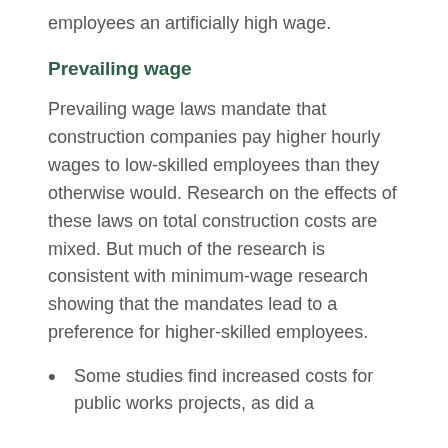employees an artificially high wage.
Prevailing wage
Prevailing wage laws mandate that construction companies pay higher hourly wages to low-skilled employees than they otherwise would. Research on the effects of these laws on total construction costs are mixed. But much of the research is consistent with minimum-wage research showing that the mandates lead to a preference for higher-skilled employees.
Some studies find increased costs for public works projects, as did a